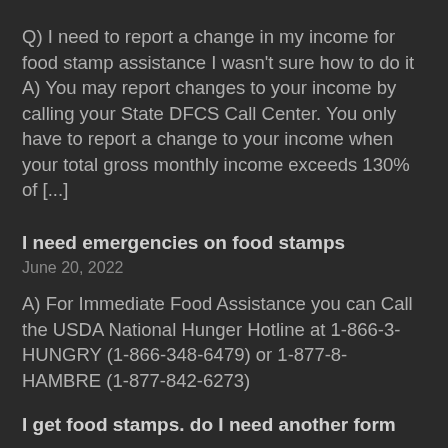Q) I need to report a change in my income for food stamp assistance I wasn't sure how to do it A) You may report changes to your income by calling your State DFCS Call Center. You only have to report a change to your income when your total gross monthly income exceeds 130% of [...]
I need emergencies on food stamps
June 20, 2022
A) For Immediate Food Assistance you can Call the USDA National Hunger Hotline at 1-866-3-HUNGRY (1-866-348-6479) or 1-877-8-HAMBRE (1-877-842-6273)
I get food stamps. do I need another form